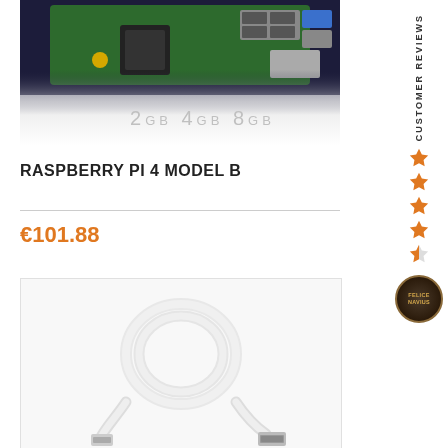[Figure (photo): Raspberry Pi 4 Model B circuit board showing USB ports and memory size options 2GB 4GB 8GB]
RASPBERRY PI 4 MODEL B
€101.88
[Figure (photo): White HDMI cable coiled on white background]
CUSTOMER REVIEWS